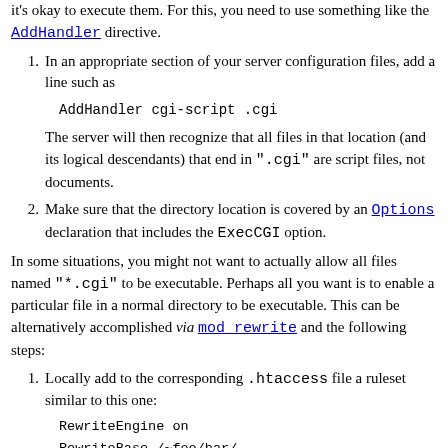it's okay to execute them. For this, you need to use something like the AddHandler directive.
In an appropriate section of your server configuration files, add a line such as
The server will then recognize that all files in that location (and its logical descendants) that end in ".cgi" are script files, not documents.
Make sure that the directory location is covered by an Options declaration that includes the ExecCGI option.
In some situations, you might not want to actually allow all files named "*.cgi" to be executable. Perhaps all you want is to enable a particular file in a normal directory to be executable. This can be alternatively accomplished via mod_rewrite and the following steps:
Locally add to the corresponding .htaccess file a ruleset similar to this one: